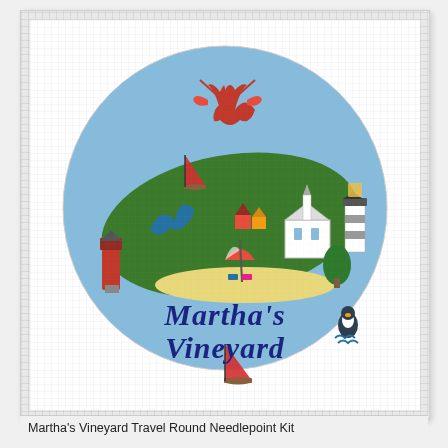[Figure (illustration): Circular needlepoint design depicting Martha's Vineyard. A light blue circle contains a green island silhouette with various landmarks: an orange/red lighthouse on the left, a red and white sailboat, a blue whale tail, colorful small houses, a red beach umbrella with beach chairs, a white church/chapel, a gray-white striped lighthouse on the right, a red lobster at the top, a small penguin figure, and a red sailboat at the bottom. The text "Martha's Vineyard" is written in dark blue cursive script across the lower portion. The background behind the circle is a white canvas with a grid texture suggesting needlepoint canvas.]
Martha's Vineyard Travel Round Needlepoint Kit